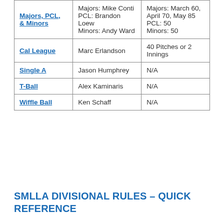| Majors, PCL, & Minors | Majors: Mike Conti
PCL: Brandon Loew
Minors: Andy Ward | Majors: March 60, April 70, May 85
PCL: 50
Minors: 50 |
| Cal League | Marc Erlandson | 40 Pitches or 2 Innings |
| Single A | Jason Humphrey | N/A |
| T-Ball | Alex Kaminaris | N/A |
| Wiffle Ball | Ken Schaff | N/A |
SMLLA DIVISIONAL RULES – QUICK REFERENCE